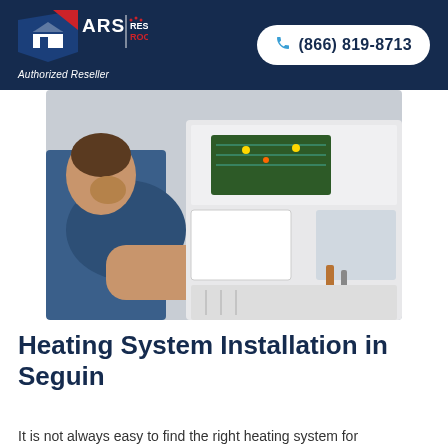ARS Rescue Rooter — Authorized Reseller | (866) 819-8713
[Figure (photo): A technician wearing a red glove and blue uniform working on an open HVAC or heating unit, reaching inside the equipment panel.]
Heating System Installation in Seguin
It is not always easy to find the right heating system for